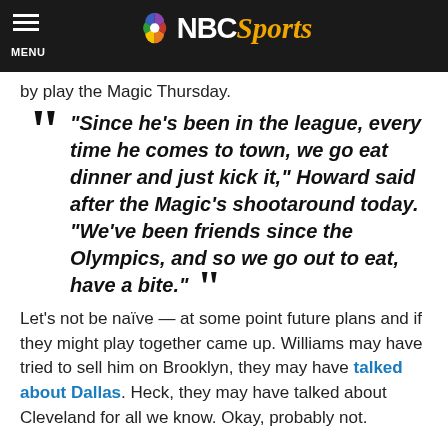NBC Sports
by play the Magic Thursday.
“Since he’s been in the league, every time he comes to town, we go eat dinner and just kick it,” Howard said after the Magic’s shootaround today. “We’ve been friends since the Olympics, and so we go out to eat, have a bite.”
Let’s not be naïve — at some point future plans and if they might play together came up. Williams may have tried to sell him on Brooklyn, they may have talked about Dallas. Heck, they may have talked about Cleveland for all we know. Okay, probably not.
But mostly they probably talked about families and